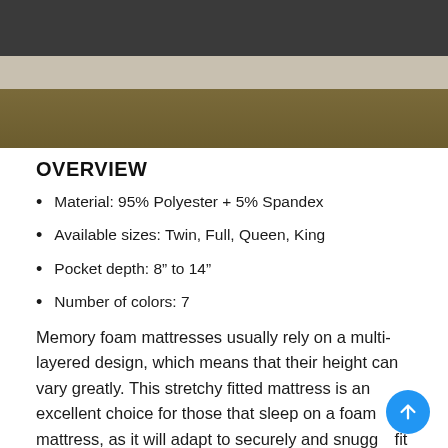[Figure (photo): Close-up photo of a dark charcoal mattress surface resting on a light concrete/stone surface with a wooden edge visible at the bottom.]
OVERVIEW
Material: 95% Polyester + 5% Spandex
Available sizes: Twin, Full, Queen, King
Pocket depth: 8” to 14”
Number of colors: 7
Memory foam mattresses usually rely on a multi-layered design, which means that their height can vary greatly. This stretchy fitted mattress is an excellent choice for those that sleep on a foam mattress, as it will adapt to securely and snugly fit mattresses that have a profile from 8” all the